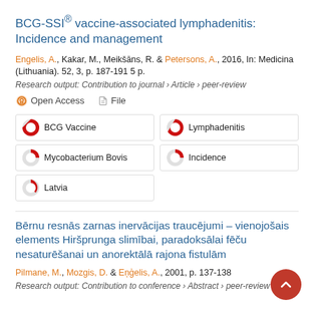BCG-SSI® vaccine-associated lymphadenitis: Incidence and management
Engelis, A., Kakar, M., Meikšāns, R. & Petersons, A., 2016, In: Medicina (Lithuania). 52, 3, p. 187-191 5 p.
Research output: Contribution to journal › Article › peer-review
Open Access   File
| BCG Vaccine | Lymphadenitis |
| Mycobacterium Bovis | Incidence |
| Latvia |  |
Bērnu resnās zarnas inervācijas traucējumi – vienojošais elements Hiršprunga slimībai, paradoksālai fēču nesaturēšanai un anorektālā rajona fistulām
Pilmane, M., Mozgis, D. & Eņģelis, A., 2001, p. 137-138
Research output: Contribution to conference › Abstract › peer-review